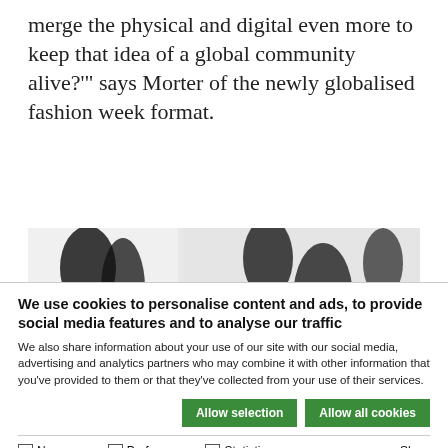merge the physical and digital even more to keep that idea of a global community alive?'" says Morter of the newly globalised fashion week format.
[Figure (photo): Black and white photo of VR headsets on a surface in front of a textile with abstract black brush-stroke patterns]
We use cookies to personalise content and ads, to provide social media features and to analyse our traffic
We also share information about your use of our site with our social media, advertising and analytics partners who may combine it with other information that you've provided to them or that they've collected from your use of their services.
Allow selection   Allow all cookies
Necessary   Preferences   Statistics   Marketing   Show details